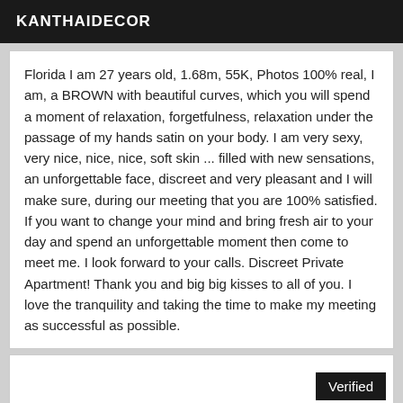KANTHAIDECOR
Florida I am 27 years old, 1.68m, 55K, Photos 100% real, I am, a BROWN with beautiful curves, which you will spend a moment of relaxation, forgetfulness, relaxation under the passage of my hands satin on your body. I am very sexy, very nice, nice, nice, soft skin ... filled with new sensations, an unforgettable face, discreet and very pleasant and I will make sure, during our meeting that you are 100% satisfied. If you want to change your mind and bring fresh air to your day and spend an unforgettable moment then come to meet me. I look forward to your calls. Discreet Private Apartment! Thank you and big big kisses to all of you. I love the tranquility and taking the time to make my meeting as successful as possible.
Verified